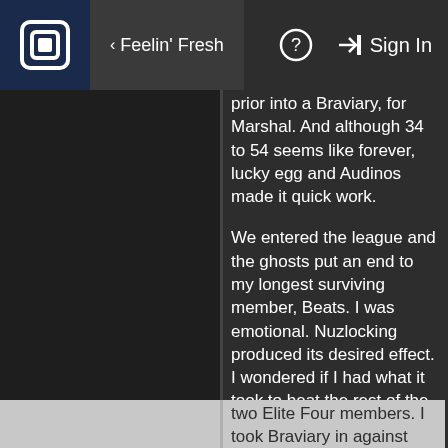Feelin' Fresh  Sign In
prior into a Braviary, for Marshal. And although 34 to 54 seems like forever, lucky egg and Audinos made it quick work.

We entered the league and the ghosts put an end to my longest surviving member, Beats. I was emotional. Nuzlocking produced its desired effect. I wondered if I had what it took to beat the rest of the league. Fortunately, Spike and Swift made quick work of the other two Elite Four members. I took Braviary in against